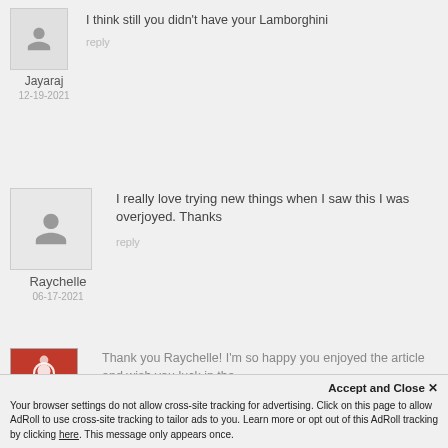I think still you didn't have your Lamborghini
Jayaraj
12-19-2021
reply
I really love trying new things when I saw this I was overjoyed. Thanks
Raychelle
06-17-2021
reply
Thank you Raychelle! I'm so happy you enjoyed the article and wish you luck in the
Allan
Accept and Close ✕
Your browser settings do not allow cross-site tracking for advertising. Click on this page to allow AdRoll to use cross-site tracking to tailor ads to you. Learn more or opt out of this AdRoll tracking by clicking here. This message only appears once.